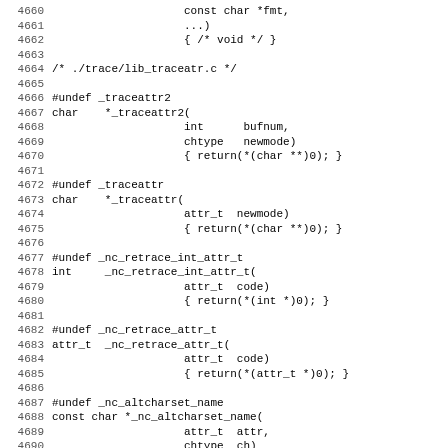Source code listing lines 4660-4691, C programming language stubs for ncurses tracing functions.